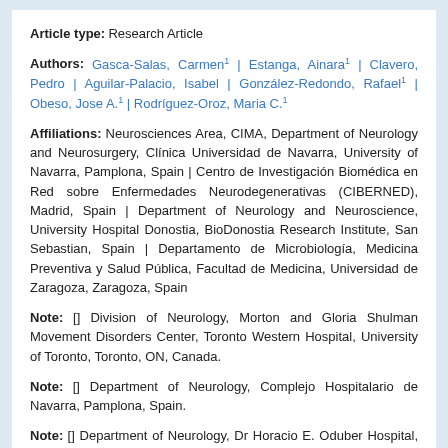Article type: Research Article
Authors: Gasca-Salas, Carmen¹ | Estanga, Ainara¹ | Clavero, Pedro | Aguilar-Palacio, Isabel | González-Redondo, Rafael¹ | Obeso, Jose A.¹ | Rodríguez-Oroz, Maria C.¹
Affiliations: Neurosciences Area, CIMA, Department of Neurology and Neurosurgery, Clínica Universidad de Navarra, University of Navarra, Pamplona, Spain | Centro de Investigación Biomédica en Red sobre Enfermedades Neurodegenerativas (CIBERNED), Madrid, Spain | Department of Neurology and Neuroscience, University Hospital Donostia, BioDonostia Research Institute, San Sebastian, Spain | Departamento de Microbiología, Medicina Preventiva y Salud Pública, Facultad de Medicina, Universidad de Zaragoza, Zaragoza, Spain
Note: [] Division of Neurology, Morton and Gloria Shulman Movement Disorders Center, Toronto Western Hospital, University of Toronto, Toronto, ON, Canada.
Note: [] Department of Neurology, Complejo Hospitalario de Navarra, Pamplona, Spain.
Note: [] Department of Neurology, Dr Horacio E. Oduber Hospital, Oranjestad, Aruba.
Note: [] Department of Neurology and Neuroscience,